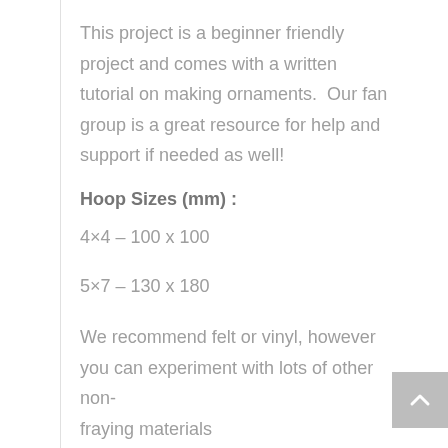This project is a beginner friendly project and comes with a written tutorial on making ornaments.  Our fan group is a great resource for help and support if needed as well!
Hoop Sizes (mm) :
4×4 – 100 x 100
5×7 – 130 x 180
We recommend felt or vinyl, however you can experiment with lots of other non-fraying materials